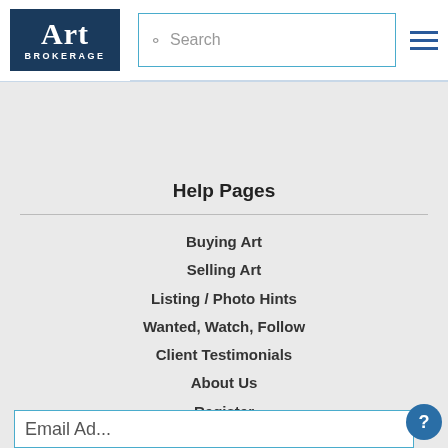Art Brokerage — Search navigation header
Help Pages
Buying Art
Selling Art
Listing / Photo Hints
Wanted, Watch, Follow
Client Testimonials
About Us
Register
Contact
Email Address (input field)